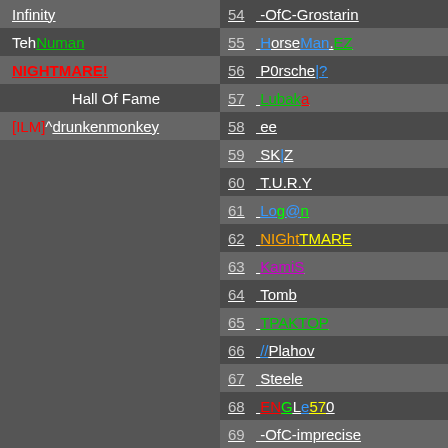Infinity
TehNuman
NIGHTMARE!
Hall Of Fame
[ILM]^drunkenmonkey
54 -OfC-Grostarin
55 HorseMan.EZ
56 P0rsche|?
57 Lubaka
58 ee
59 SK|Z
60 T.U.R.Y
61 Log@n
62 NIGhtTMARE
63 KamiS
64 Tomb
65 TPAKTOP
66 //Plahov
67 Steele
68 ENGLe570
69 -OfC-imprecise
70 eKo^Bl!nd
71 serve&protect
72 Green^ BAROOD
73 D_R_v_O
74 Arek
75 Flo
76 kingg